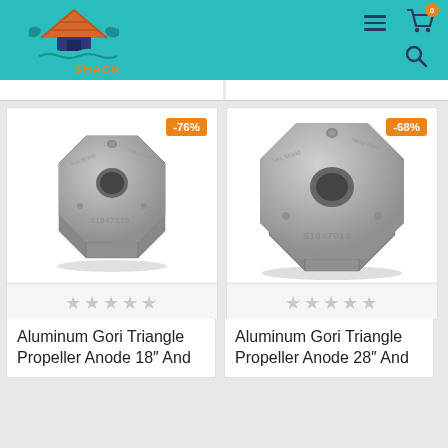[Figure (logo): AnodeShack logo with teal hut/crab icon and teal/orange text]
[Figure (screenshot): Header navigation icons: hamburger menu, shopping cart with badge '0', and search icon]
[Figure (photo): Aluminum Gori Triangle Propeller Anode, smaller size, octagonal gray metal piece with center hole]
[Figure (photo): Aluminum Gori Triangle Propeller Anode, larger size, octagonal gray metal piece with center hole]
★★★★★
★★★★★
Aluminum Gori Triangle Propeller Anode 18" And
Aluminum Gori Triangle Propeller Anode 28" And